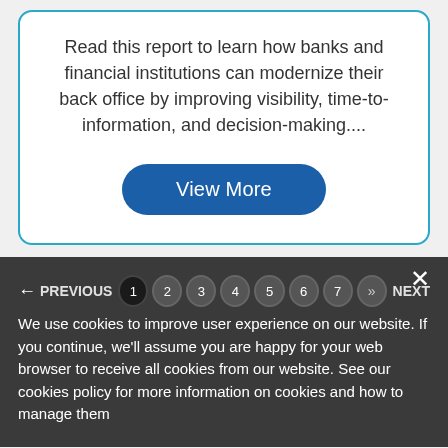Read this report to learn how banks and financial institutions can modernize their back office by improving visibility, time-to-information, and decision-making....
[Figure (other): Blue rounded button labeled 'View More']
× (close button)
← PREVIOUS  1  2  3  4  5  6  7  >>  NEXT
We use cookies to improve user experience on our website. If you continue, we'll assume you are happy for your web browser to receive all cookies from our website. See our cookies policy for more information on cookies and how to manage them